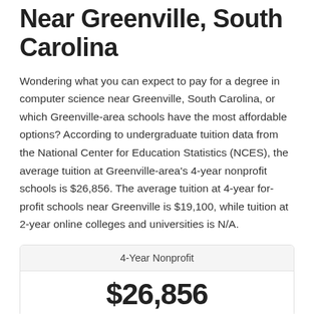Near Greenville, South Carolina
Wondering what you can expect to pay for a degree in computer science near Greenville, South Carolina, or which Greenville-area schools have the most affordable options? According to undergraduate tuition data from the National Center for Education Statistics (NCES), the average tuition at Greenville-area's 4-year nonprofit schools is $26,856. The average tuition at 4-year for-profit schools near Greenville is $19,100, while tuition at 2-year online colleges and universities is N/A.
| 4-Year Nonprofit |
| --- |
| $26,856 |